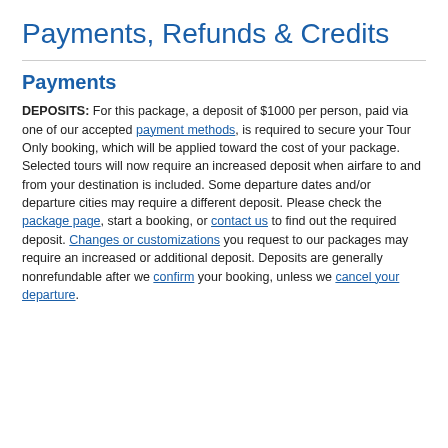Payments, Refunds & Credits
Payments
DEPOSITS: For this package, a deposit of $1000 per person, paid via one of our accepted payment methods, is required to secure your Tour Only booking, which will be applied toward the cost of your package. Selected tours will now require an increased deposit when airfare to and from your destination is included. Some departure dates and/or departure cities may require a different deposit. Please check the package page, start a booking, or contact us to find out the required deposit. Changes or customizations you request to our packages may require an increased or additional deposit. Deposits are generally nonrefundable after we confirm your booking, unless we cancel your departure.